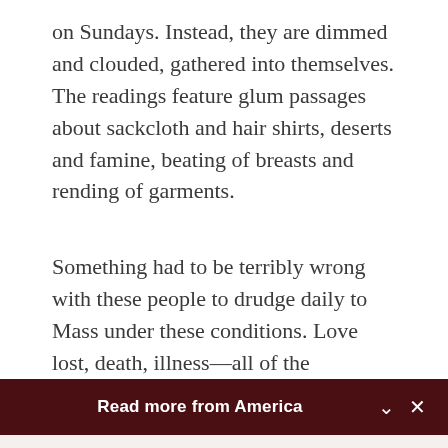on Sundays. Instead, they are dimmed and clouded, gathered into themselves. The readings feature glum passages about sackcloth and hair shirts, deserts and famine, beating of breasts and rending of garments.
Something had to be terribly wrong with these people to drudge daily to Mass under these conditions. Love lost, death, illness—all of the
Read more from America
[Figure (photo): Photo of Pope Francis meeting with a small group of people, appearing to be in conversation in an indoor setting.]
Pope Francis entrusts 3 female saints with new…
Cindy Wooden - Catholic News Service